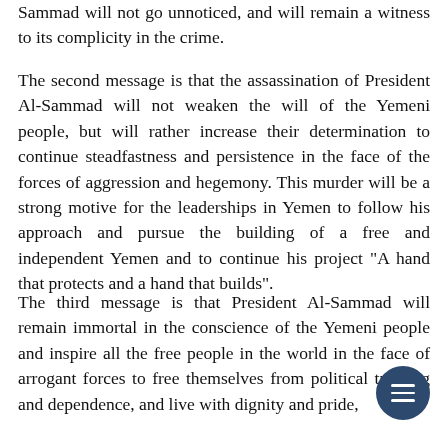Sammad will not go unnoticed, and will remain a witness to its complicity in the crime.
The second message is that the assassination of President Al-Sammad will not weaken the will of the Yemeni people, but will rather increase their determination to continue steadfastness and persistence in the face of the forces of aggression and hegemony. This murder will be a strong motive for the leaderships in Yemen to follow his approach and pursue the building of a free and independent Yemen and to continue his project "A hand that protects and a hand that builds".
The third message is that President Al-Sammad will remain immortal in the conscience of the Yemeni people and inspire all the free people in the world in the face of arrogant forces to free themselves from political tutoring and dependence, and live with dignity and pride,